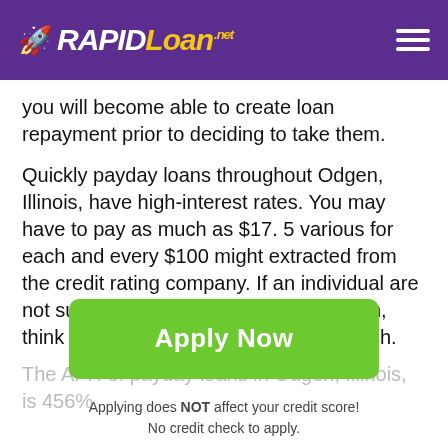RAPIDLoan.net
you will become able to create loan repayment prior to deciding to take them.
Quickly payday loans throughout Odgen, Illinois, have high-interest rates. You may have to pay as much as $17. 5 various for each and every $100 might extracted from the credit rating company. If an individual are not sure that you could include your loan, think about other ways to have extra cash.
The APR of payday loans in Odgen, Illinois, is 456%
[Figure (other): Green 'Apply Now' button]
Applying does NOT affect your credit score!
No credit check to apply.